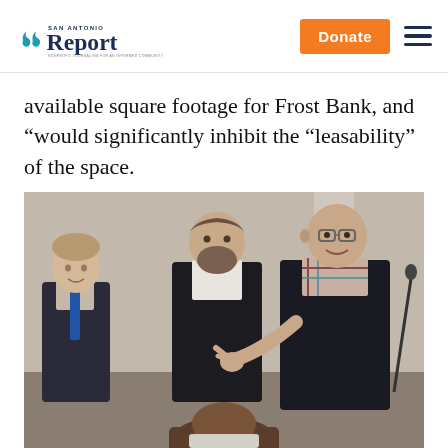San Antonio Report — Donate
available square footage for Frost Bank, and “would significantly inhibit the “leasability” of the space.
[Figure (photo): Three men in business casual attire at what appears to be a public meeting. A man on the right in a plaid shirt gestures while speaking, a bearded man in a dark jacket stands in the center, and a man in a blue tie stands to the left. A partially visible fourth person is seated in the foreground.]